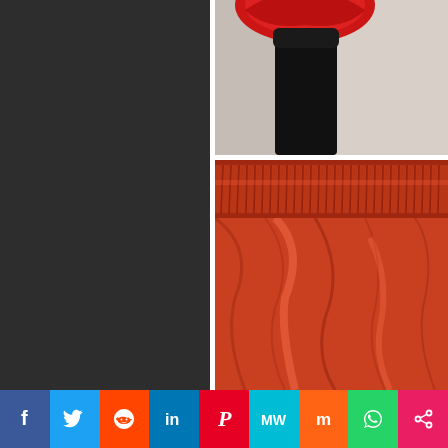[Figure (photo): Left half dark gray/charcoal panel. Right top: close-up photo of red boxing glove with black wrist area against gray/white background. Right bottom: close-up photo of red satin boxing shorts with elastic waistband gathered at top.]
[Figure (infographic): Social media sharing bar at bottom with 9 buttons: Facebook (blue, f), Twitter (light blue, bird), Reddit (orange-red, alien), LinkedIn (dark blue, in), Pinterest (red, P), MixedWays/MW (cyan, MW), Mix (orange, m), WhatsApp (green, phone), Share (pink, <).]